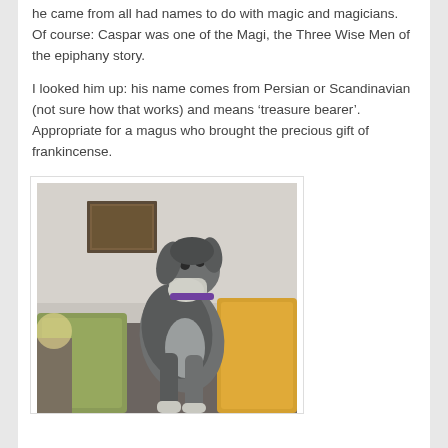he came from all had names to do with magic and magicians. Of course: Caspar was one of the Magi, the Three Wise Men of the epiphany story.
I looked him up: his name comes from Persian or Scandinavian (not sure how that works) and means 'treasure bearer'. Appropriate for a magus who brought the precious gift of frankincense.
[Figure (photo): A miniature schnauzer dog standing on a sofa with colourful cushions (green and yellow), looking upward. A framed picture is visible on the wall in the background. The dog has a purple collar.]